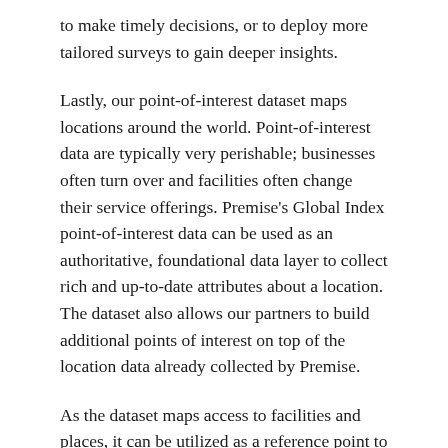to make timely decisions, or to deploy more tailored surveys to gain deeper insights.
Lastly, our point-of-interest dataset maps locations around the world. Point-of-interest data are typically very perishable; businesses often turn over and facilities often change their service offerings. Premise's Global Index point-of-interest data can be used as an authoritative, foundational data layer to collect rich and up-to-date attributes about a location. The dataset also allows our partners to build additional points of interest on top of the location data already collected by Premise.
As the dataset maps access to facilities and places, it can be utilized as a reference point to determine the quality of life in a given area. For instance, knowing the density of hospitals and clinics in a community can help organizations identify populations with little or no health care coverage. Similarly, the dataset